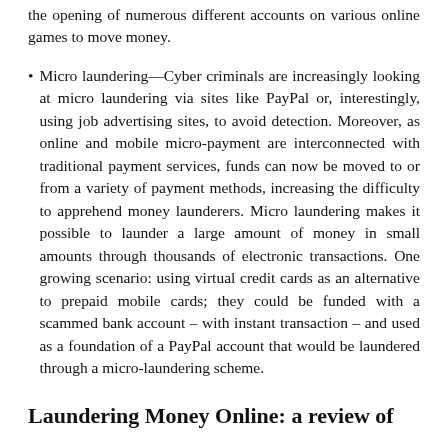the opening of numerous different accounts on various online games to move money.
Micro laundering—Cyber criminals are increasingly looking at micro laundering via sites like PayPal or, interestingly, using job advertising sites, to avoid detection. Moreover, as online and mobile micro-payment are interconnected with traditional payment services, funds can now be moved to or from a variety of payment methods, increasing the difficulty to apprehend money launderers. Micro laundering makes it possible to launder a large amount of money in small amounts through thousands of electronic transactions. One growing scenario: using virtual credit cards as an alternative to prepaid mobile cards; they could be funded with a scammed bank account – with instant transaction – and used as a foundation of a PayPal account that would be laundered through a micro-laundering scheme.
Laundering Money Online: a review of